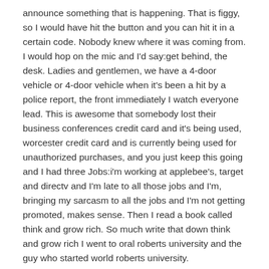announce something that is happening. That is figgy, so I would have hit the button and you can hit it in a certain code. Nobody knew where it was coming from. I would hop on the mic and I'd say:get behind, the desk. Ladies and gentlemen, we have a 4-door vehicle or 4-door vehicle when it's been a hit by a police report, the front immediately I watch everyone lead. This is awesome that somebody lost their business conferences credit card and it's being used, worcester credit card and is currently being used for unauthorized purchases, and you just keep this going and I had three Jobs:i'm working at applebee's, target and directv and I'm late to all those jobs and I'm, bringing my sarcasm to all the jobs and I'm not getting promoted, makes sense. Then I read a book called think and grow rich. So much write that down think and grow rich I went to oral roberts university and the guy who started world roberts university.
His name is oral roberts and the coach that he hired to help him grow. The ministry his name was napoleon hill napoleon hill was the personal apprentice of andrew carnegie. You were a book called think and grow rich and that book think and grow